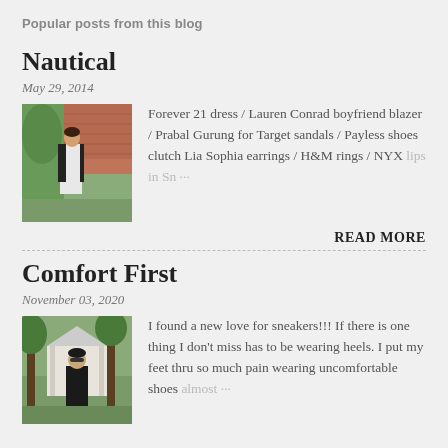Popular posts from this blog
Nautical
May 29, 2014
[Figure (photo): Woman in white dress and black blazer standing outside brick building]
Forever 21 dress /  Lauren Conrad  boyfriend blazer / Prabal Gurung for Target sandals / Payless shoes clutch  Lia Sophia earrings / H&M rings / NYX lips in Sn… ···
READ MORE
Comfort First
November 03, 2020
[Figure (photo): Person standing near white gazebo among trees, wearing dark coat and sunglasses]
I found a new love for sneakers!!! If there is one thing I don't miss has to be wearing heels.  I put my feet thru so much pain wearing uncomfortable shoes almost ···